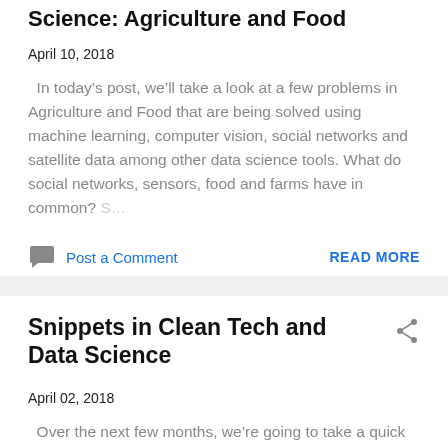Science: Agriculture and Food
April 10, 2018
In today’s post, we’ll take a look at a few problems in Agriculture and Food that are being solved using machine learning, computer vision, social networks and satellite data among other data science tools. What do social networks, sensors, food and farms have in common? S…
Post a Comment
READ MORE
Snippets in Clean Tech and Data Science
April 02, 2018
Over the next few months, we’re going to take a quick look